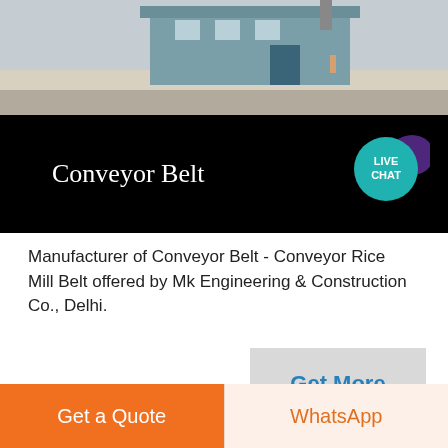[Figure (photo): Aerial view of a building with light blue facade on a concrete area, partially cropped at bottom.]
Conveyor Belt
[Figure (infographic): Live Chat speech bubble badge in teal/purple colors]
Manufacturer of Conveyor Belt - Conveyor Rice Mill Belt offered by Mk Engineering & Construction Co., Delhi.
[Figure (photo): Industrial facility with grain handling equipment, towers, silos and conveyor structures against a blue sky.]
Get More
Get a Quote
WhatsApp